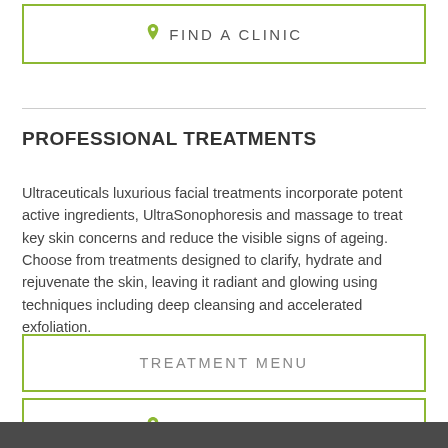FIND A CLINIC
PROFESSIONAL TREATMENTS
Ultraceuticals luxurious facial treatments incorporate potent active ingredients, UltraSonophoresis and massage to treat key skin concerns and reduce the visible signs of ageing. Choose from treatments designed to clarify, hydrate and rejuvenate the skin, leaving it radiant and glowing using techniques including deep cleansing and accelerated exfoliation.
TREATMENT MENU
FIND A CLINIC